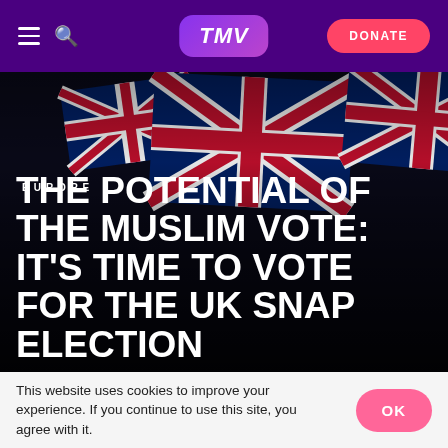TMV | DONATE
[Figure (photo): Dark background with UK Union Jack flags waving, people visible in foreground, moody night scene]
EUROPE
THE POTENTIAL OF THE MUSLIM VOTE: IT'S TIME TO VOTE FOR THE UK SNAP ELECTION
This website uses cookies to improve your experience. If you continue to use this site, you agree with it.